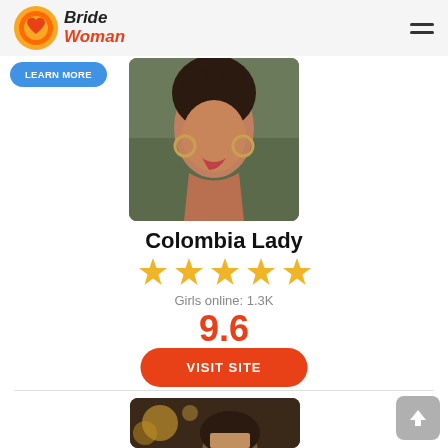BrideWoman
[Figure (photo): Partial top area with a blue 'Learn more' button visible at left]
[Figure (photo): Portrait photo of a young woman with braids and hoop earrings looking upward against a green background]
Colombia Lady
[Figure (other): Five gold star rating]
Girls online: 1.3K
9.6
VISIT SITE
[Figure (photo): Partial photo of a young woman with curly hair and bokeh background, beginning of next card]